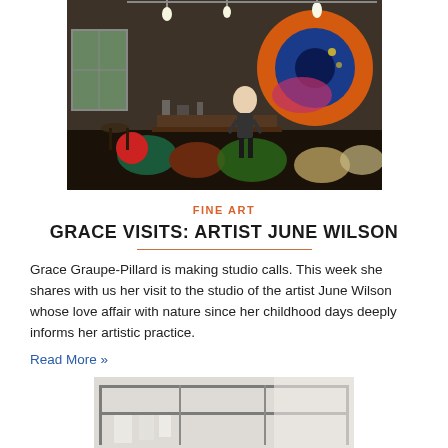[Figure (photo): Interior of an artist's studio with colorful large circular paintings on the wall, an artist standing in the middle, and a cluttered work table.]
FINE ART
GRACE VISITS: ARTIST JUNE WILSON
Grace Graupe-Pillard is making studio calls. This week she shares with us her visit to the studio of the artist June Wilson whose love affair with nature since her childhood days deeply informs her artistic practice.
Read More »
[Figure (photo): Bottom portion of a photograph showing what appears to be an artist's shelving or rack unit with items hanging.]